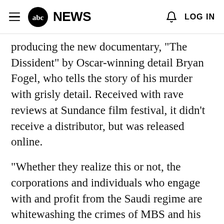abc NEWS | LOG IN
producing the new documentary, "The Dissident" by Oscar-winning detail Bryan Fogel, who tells the story of his murder with grisly detail. Received with rave reviews at Sundance film festival, it didn't receive a distributor, but was released online.
"Whether they realize this or not, the corporations and individuals who engage with and profit from the Saudi regime are whitewashing the crimes of MBS and his government," Halvorssen said, adding HRF sent letters to several CEOs asking them to boycott the FIII summit.